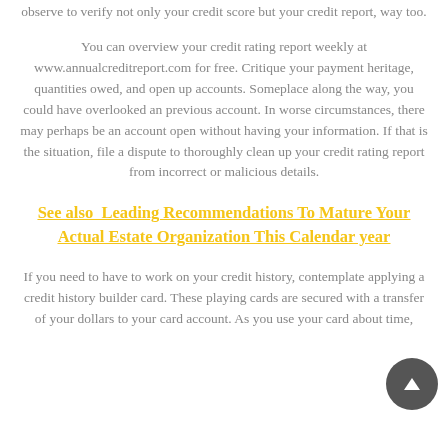observe to verify not only your credit score but your credit report, way too.
You can overview your credit rating report weekly at www.annualcreditreport.com for free. Critique your payment heritage, quantities owed, and open up accounts. Someplace along the way, you could have overlooked an previous account. In worse circumstances, there may perhaps be an account open without having your information. If that is the situation, file a dispute to thoroughly clean up your credit rating report from incorrect or malicious details.
See also  Leading Recommendations To Mature Your Actual Estate Organization This Calendar year
If you need to have to work on your credit history, contemplate applying a credit history builder card. These playing cards are secured with a transfer of your dollars to your card account. As you use your card about time,